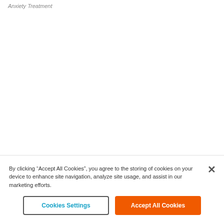Anxiety Treatment
By clicking "Accept All Cookies", you agree to the storing of cookies on your device to enhance site navigation, analyze site usage, and assist in our marketing efforts.
Cookies Settings
Accept All Cookies